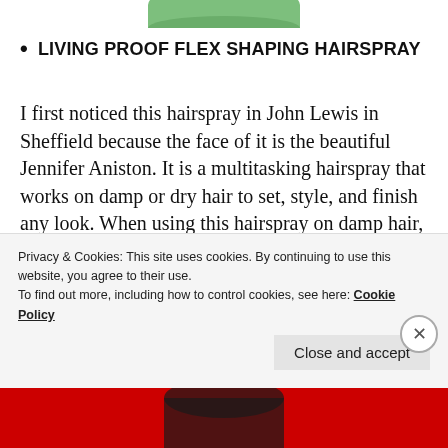[Figure (photo): Partial bottom view of a hairspray product bottle with green cap, cropped at top of page]
LIVING PROOF FLEX SHAPING HAIRSPRAY
I first noticed this hairspray in John Lewis in Sheffield because the face of it is the beautiful Jennifer Aniston. It is a multitasking hairspray that works on damp or dry hair to set, style, and finish any look. When using this hairspray on damp hair, all you need to do is spray it on when coming out of the shower and immediately
Privacy & Cookies: This site uses cookies. By continuing to use this website, you agree to their use.
To find out more, including how to control cookies, see here: Cookie Policy
[Figure (photo): Bottom strip showing partial red background with a person, partially visible, at bottom of page]